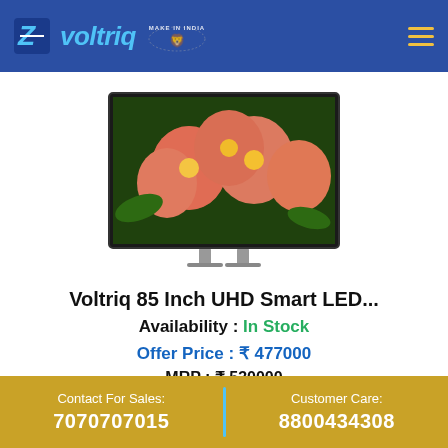[Figure (logo): Voltriq brand logo with blue background, white and blue stylized 'Z' icon, white italic bold text 'voltriq', Make in India logo with lion and text, golden hamburger menu icon]
[Figure (photo): Voltriq 85 Inch UHD Smart LED TV product image showing a flat screen TV displaying vivid pink/orange flowers on a dark background, with silver stand legs]
Voltriq 85 Inch UHD Smart LED...
Availability : In Stock
Offer Price : ₹ 477000
MRP : ₹ 530000
Contact For Sales:
7070707015
Customer Care:
8800434308